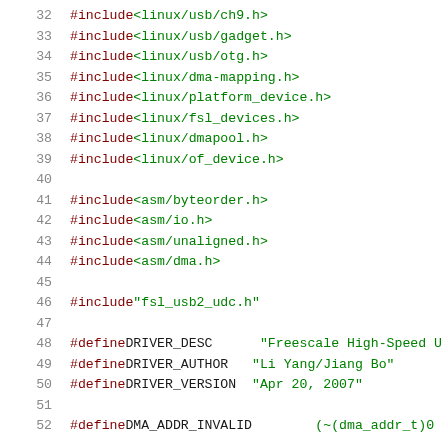32  #include <linux/usb/ch9.h>
33  #include <linux/usb/gadget.h>
34  #include <linux/usb/otg.h>
35  #include <linux/dma-mapping.h>
36  #include <linux/platform_device.h>
37  #include <linux/fsl_devices.h>
38  #include <linux/dmapool.h>
39  #include <linux/of_device.h>
40
41  #include <asm/byteorder.h>
42  #include <asm/io.h>
43  #include <asm/unaligned.h>
44  #include <asm/dma.h>
45
46  #include "fsl_usb2_udc.h"
47
48  #define DRIVER_DESC     "Freescale High-Speed U
49  #define DRIVER_AUTHOR   "Li Yang/Jiang Bo"
50  #define DRIVER_VERSION  "Apr 20, 2007"
51
52  #define DMA_ADDR_INVALID    (~(dma_addr_t)0